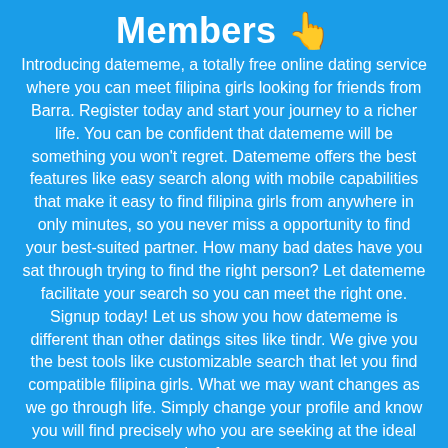Members 👆
Introducing datememe, a totally free online dating service where you can meet filipina girls looking for friends from Barra. Register today and start your journey to a richer life. You can be confident that datememe will be something you won't regret. Datememe offers the best features like easy search along with mobile capabilities that make it easy to find filipina girls from anywhere in only minutes, so you never miss a opportunity to find your best-suited partner. How many bad dates have you sat through trying to find the right person? Let datememe facilitate your search so you can meet the right one. Signup today! Let us show you how datememe is different than other datings sites like tindr. We give you the best tools like customizable search that let you find compatible filipina girls. What we may want changes as we go through life. Simply change your profile and know you will find precisely who you are seeking at the ideal time for you.